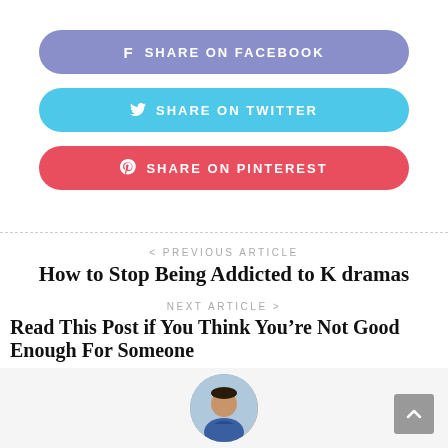SHARE ON FACEBOOK
SHARE ON TWITTER
SHARE ON PINTEREST
< PREVIOUS ARTICLE
How to Stop Being Addicted to K dramas
NEXT ARTICLE >
Read This Post if You Think You're Not Good Enough For Someone
[Figure (photo): Circular author avatar photo of a young man in a blue shirt]